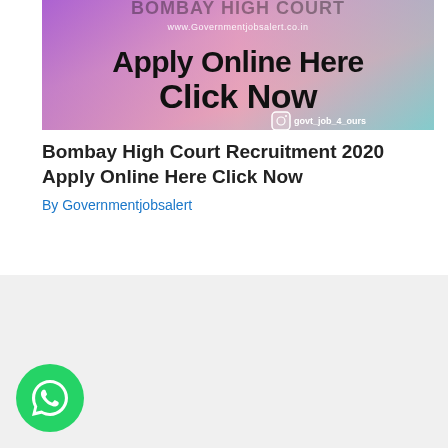[Figure (infographic): Colorful gradient banner (purple-pink-teal) with text 'www.Governmentjobsalert.co.in', 'Apply Online Here', 'Click Now', and Instagram handle 'govt_job_4_ours']
Bombay High Court Recruitment 2020 Apply Online Here Click Now
By Governmentjobsalert